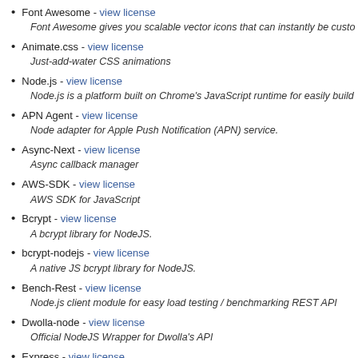Font Awesome - view license
Font Awesome gives you scalable vector icons that can instantly be custo...
Animate.css - view license
Just-add-water CSS animations
Node.js - view license
Node.js is a platform built on Chrome's JavaScript runtime for easily build...
APN Agent - view license
Node adapter for Apple Push Notification (APN) service.
Async-Next - view license
Async callback manager
AWS-SDK - view license
AWS SDK for JavaScript
Bcrypt - view license
A bcrypt library for NodeJS.
bcrypt-nodejs - view license
A native JS bcrypt library for NodeJS.
Bench-Rest - view license
Node.js client module for easy load testing / benchmarking REST API
Dwolla-node - view license
Official NodeJS Wrapper for Dwolla's API
Express - view license
Fast, unopinionated, minimalist web framework for node.
FB - view license